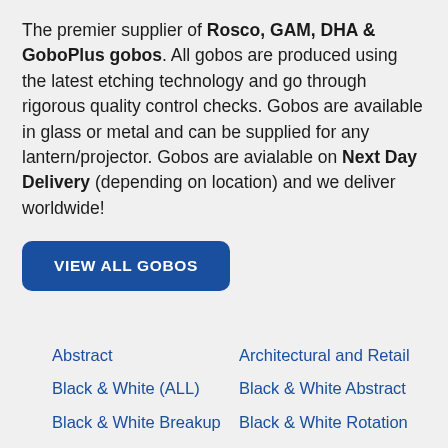The premier supplier of Rosco, GAM, DHA & GoboPlus gobos. All gobos are produced using the latest etching technology and go through rigorous quality control checks. Gobos are available in glass or metal and can be supplied for any lantern/projector. Gobos are avialable on Next Day Delivery (depending on location) and we deliver worldwide!
VIEW ALL GOBOS
Abstract
Architectural and Retail
Black & White (ALL)
Black & White Abstract
Black & White Breakup
Black & White Rotation
Black & White Scene
Boundaries and Wildlife